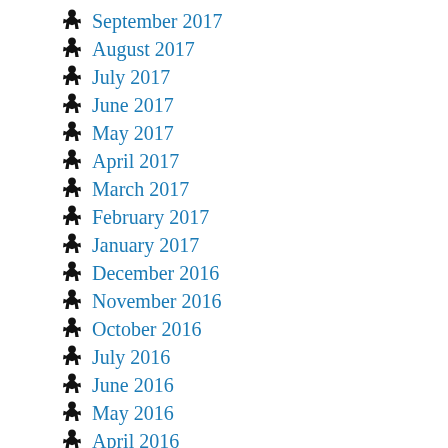September 2017
August 2017
July 2017
June 2017
May 2017
April 2017
March 2017
February 2017
January 2017
December 2016
November 2016
October 2016
July 2016
June 2016
May 2016
April 2016